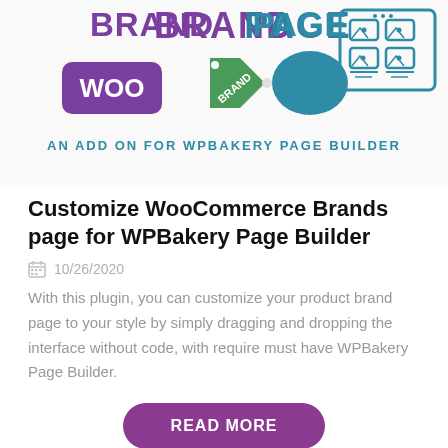[Figure (illustration): Promotional banner for WooCommerce Brand Page plugin: 'BRAND PAGE' text in purple/teal, WooCommerce logo, brand tag icon, speech bubble icon, and a grid-of-images icon, with subtitle 'AN ADD ON FOR WPBAKERY PAGE BUILDER' in teal.]
Customize WooCommerce Brands page for WPBakery Page Builder
10/26/2020
With this plugin, you can customize your product brand page to your style by simply dragging and dropping the interface without code, with require must have WPBakery Page Builder.
READ MORE